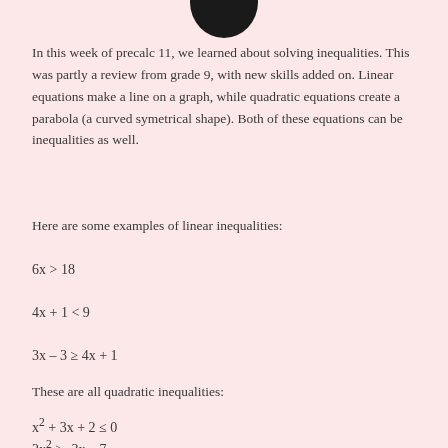[Figure (illustration): Partial black circular logo/avatar at the top center of the page]
In this week of precalc 11, we learned about solving inequalities. This was partly a review from grade 9, with new skills added on. Linear equations make a line on a graph, while quadratic equations create a parabola (a curved symetrical shape). Both of these equations can be inequalities as well.
Here are some examples of linear inequalities:
These are all quadratic inequalities: